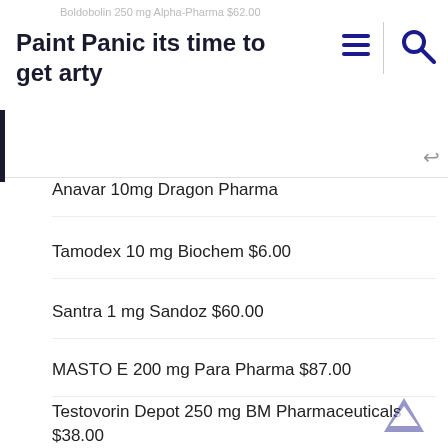Paint Panic its time to get arty
Anavar 10mg Dragon Pharma
Tamodex 10 mg Biochem $6.00
Santra 1 mg Sandoz $60.00
MASTO E 200 mg Para Pharma $87.00
Testovorin Depot 250 mg BM Pharmaceuticals $38.00